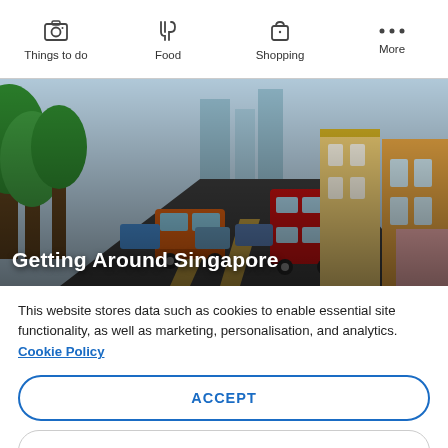Things to do | Food | Shopping | More
[Figure (photo): Aerial view of a busy Singapore street with buses, cars, trees lining the road, and colorful shophouses on the right side. Text overlay reads 'Getting Around Singapore'.]
Getting Around Singapore
This website stores data such as cookies to enable essential site functionality, as well as marketing, personalisation, and analytics. Cookie Policy
ACCEPT